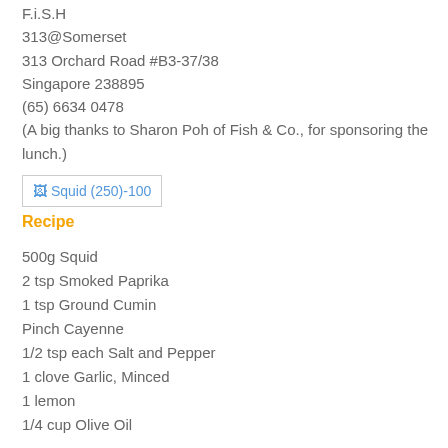F.i.S.H
313@Somerset
313 Orchard Road #B3-37/38
Singapore 238895
(65) 6634 0478
(A big thanks to Sharon Poh of Fish & Co., for sponsoring the lunch.)
[Figure (photo): Image placeholder showing 'Squid (250)-100' with a broken image icon and blue hyperlink text]
Recipe
500g Squid
2 tsp Smoked Paprika
1 tsp Ground Cumin
Pinch Cayenne
1/2 tsp each Salt and Pepper
1 clove Garlic, Minced
1 lemon
1/4 cup Olive Oil
Method :